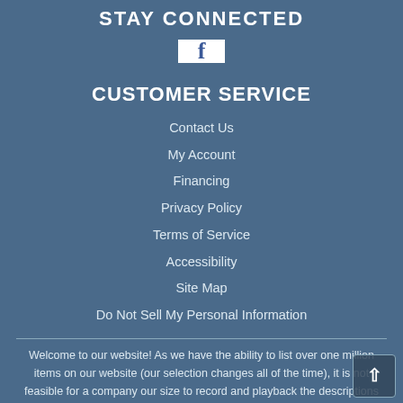STAY CONNECTED
[Figure (logo): Facebook logo icon — white square with dark blue lowercase 'f']
CUSTOMER SERVICE
Contact Us
My Account
Financing
Privacy Policy
Terms of Service
Accessibility
Site Map
Do Not Sell My Personal Information
Welcome to our website! As we have the ability to list over one million items on our website (our selection changes all of the time), it is not feasible for a company our size to record and playback the descriptions on every item on our website. However, if you have a disability we are here to help you. Please call our disability services phone line at 360-336-3007 during regular